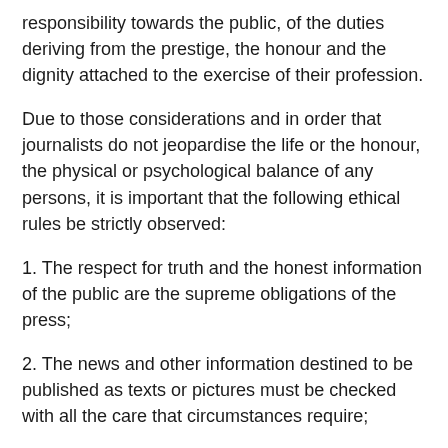responsibility towards the public, of the duties deriving from the prestige, the honour and the dignity attached to the exercise of their profession.
Due to those considerations and in order that journalists do not jeopardise the life or the honour, the physical or psychological balance of any persons, it is important that the following ethical rules be strictly observed:
1. The respect for truth and the honest information of the public are the supreme obligations of the press;
2. The news and other information destined to be published as texts or pictures must be checked with all the care that circumstances require;
3. Published news or statements that later prove to be false must be corrected as soon as possible under whatever shape is appropriate, by the press outlet that made them public;